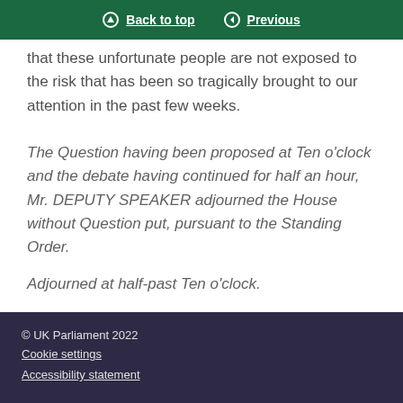Back to top | Previous
that these unfortunate people are not exposed to the risk that has been so tragically brought to our attention in the past few weeks.
The Question having been proposed at Ten o'clock and the debate having continued for half an hour, Mr. DEPUTY SPEAKER adjourned the House without Question put, pursuant to the Standing Order.
Adjourned at half-past Ten o'clock.
© UK Parliament 2022
Cookie settings
Accessibility statement